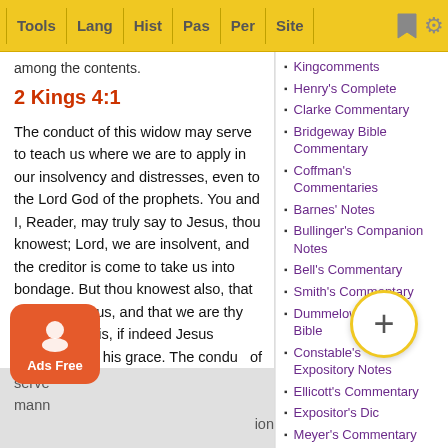Tools | Lang | Hist | Pas | Per | Site
among the contents.
2 Kings 4:1
The conduct of this widow may serve to teach us where we are to apply in our insolvency and distresses, even to the Lord God of the prophets. You and I, Reader, may truly say to Jesus, thou knowest; Lord, we are insolvent, and the creditor is come to take us into bondage. But thou knowest also, that thy fear is in us, and that we are thy ants. That is, if indeed Jesus called us by his grace. The conduct of this serve manner
Kingcomments
Henry's Complete
Clarke Commentary
Bridgeway Bible Commentary
Coffman's Commentaries
Barnes' Notes
Bullinger's Companion Notes
Bell's Commentary
Smith's Commentary
Dummelow on the Bible
Constable's Expository Notes
Ellicott's Commentary
Expositor's Dictionary
Meyer's Commentary
Gaebelein's